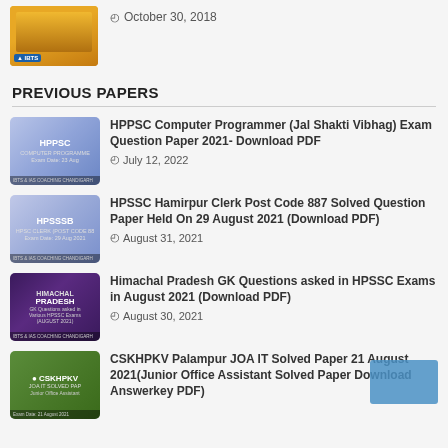[Figure (illustration): IBTS thumbnail image with orange/sunset background and IBTS label]
October 30, 2018
PREVIOUS PAPERS
HPPSC Computer Programmer (Jal Shakti Vibhag) Exam Question Paper 2021- Download PDF
July 12, 2022
HPSSC Hamirpur Clerk Post Code 887 Solved Question Paper Held On 29 August 2021 (Download PDF)
August 31, 2021
Himachal Pradesh GK Questions asked in HPSSC Exams in August 2021 (Download PDF)
August 30, 2021
CSKHPKV Palampur JOA IT Solved Paper 21 August 2021(Junior Office Assistant Solved Paper Download Answerkey PDF)